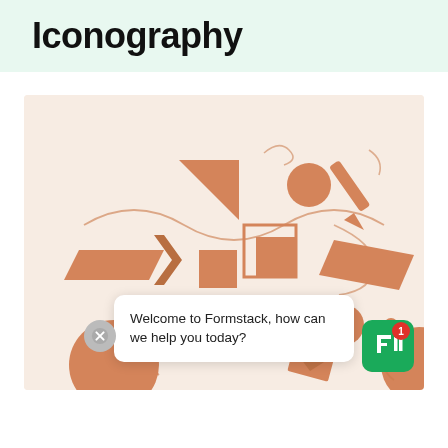Iconography
[Figure (illustration): A collection of geometric shapes (triangles, squares, rectangles, circles) and line drawings in terracotta/orange tones on a light peach background, representing iconography design elements. Includes a chat bubble overlay at the bottom showing 'Welcome to Formstack, how can we help you today?' with a close button and a Formstack app icon with notification badge showing '1'.]